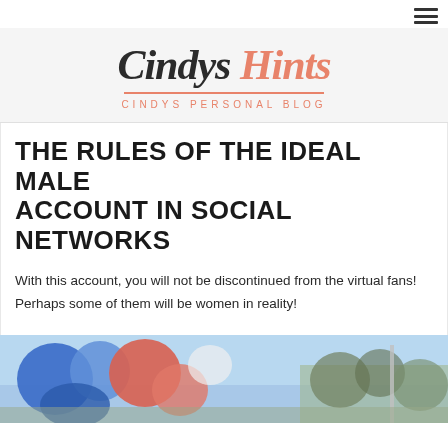[Figure (logo): Cindys Hints - Cindys Personal Blog logo with decorative script text]
THE RULES OF THE IDEAL MALE ACCOUNT IN SOCIAL NETWORKS
With this account, you will not be discontinued from the virtual fans! Perhaps some of them will be women in reality!
[Figure (photo): Outdoor photo with colorful shapes, blue sky and trees in background]